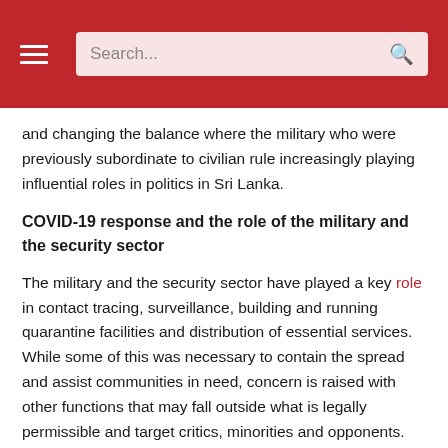Search...
and changing the balance where the military who were previously subordinate to civilian rule increasingly playing influential roles in politics in Sri Lanka.
COVID-19 response and the role of the military and the security sector
The military and the security sector have played a key role in contact tracing, surveillance, building and running quarantine facilities and distribution of essential services. While some of this was necessary to contain the spread and assist communities in need, concern is raised with other functions that may fall outside what is legally permissible and target critics, minorities and opponents. Further, the pandemic also justified the re-emergence of a heavy military presence across Sri Lanka with check points manned by unidentifiable armed military men who not only stand guard but recently doubled up to check